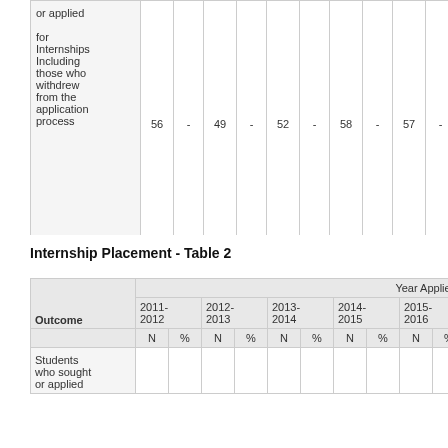| Outcome | 2011-2012 N | 2011-2012 % | 2012-2013 N | 2012-2013 % | 2013-2014 N | 2013-2014 % | 2014-2015 N | 2014-2015 % | 2015-2016 N | 2015-2016 % | 2016-2017 N |
| --- | --- | --- | --- | --- | --- | --- | --- | --- | --- | --- | --- |
| or applied for Internships Including those who withdrew from the application process | 56 | - | 49 | - | 52 | - | 58 | - | 57 | - | 72 |
Internship Placement - Table 2
| Outcome | 2011-2012 N | 2011-2012 % | 2012-2013 N | 2012-2013 % | 2013-2014 N | 2013-2014 % | 2014-2015 N | 2014-2015 % | 2015-2016 N | 2015-2016 % | 2016-2017 N |
| --- | --- | --- | --- | --- | --- | --- | --- | --- | --- | --- | --- |
| Students who sought or applied |  |  |  |  |  |  |  |  |  |  |  |